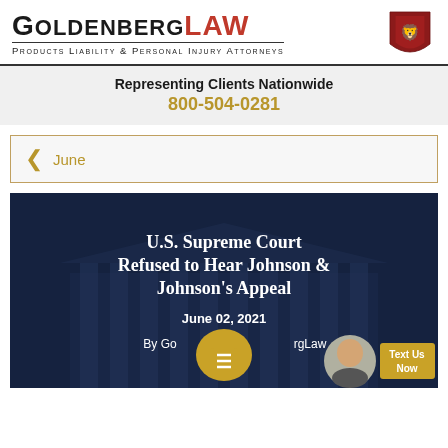[Figure (logo): GoldenbergLaw logo with firm name and red lion shield crest, tagline: Products Liability & Personal Injury Attorneys]
Representing Clients Nationwide
800-504-0281
June
[Figure (photo): Hero image of U.S. Supreme Court building at night with dark blue sky overlay. White text overlay reads: U.S. Supreme Court Refused to Hear Johnson & Johnson's Appeal. June 02, 2021. By GoldenbergLaw. Chat widget with female attorney avatar and 'Text Us Now' button visible in corner.]